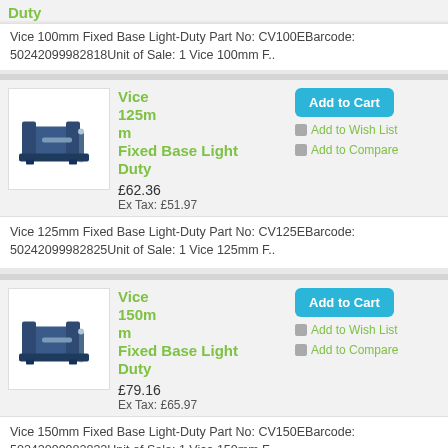Duty
Vice 100mm Fixed Base Light-Duty Part No: CV100EBarcode: 50242099982818Unit of Sale: 1 Vice 100mm F..
[Figure (photo): Blue bench vice, 125mm Fixed Base Light Duty]
Vice 125mm Fixed Base Light Duty £62.36 Ex Tax: £51.97
Add to Cart | Add to Wish List | Add to Compare
Vice 125mm Fixed Base Light-Duty Part No: CV125EBarcode: 50242099982825Unit of Sale: 1 Vice 125mm F..
[Figure (photo): Blue bench vice, 150mm Fixed Base Light Duty]
Vice 150mm Fixed Base Light Duty £79.16 Ex Tax: £65.97
Add to Cart | Add to Wish List | Add to Compare
Vice 150mm Fixed Base Light-Duty Part No: CV150EBarcode: 50242099982832Unit of Sale: 1 Vice 150mm F..